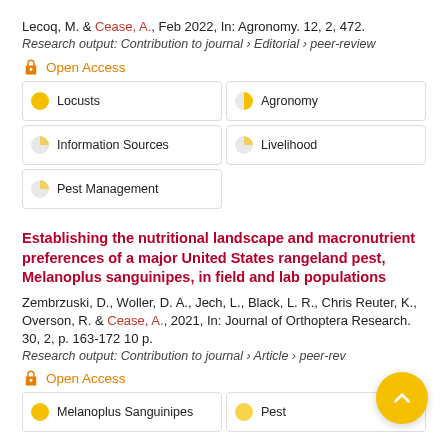Lecoq, M. & Cease, A., Feb 2022, In: Agronomy. 12, 2, 472.
Research output: Contribution to journal › Editorial › peer-review
Open Access
Locusts
Agronomy
Information Sources
Livelihood
Pest Management
Establishing the nutritional landscape and macronutrient preferences of a major United States rangeland pest, Melanoplus sanguinipes, in field and lab populations
Zembrzuski, D., Woller, D. A., Jech, L., Black, L. R., Chris Reuter, K., Overson, R. & Cease, A., 2021, In: Journal of Orthoptera Research. 30, 2, p. 163-172 10 p.
Research output: Contribution to journal › Article › peer-review
Open Access
Melanoplus Sanguinipes
Pest